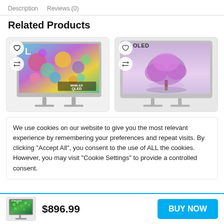Description   Reviews (0)
Related Products
[Figure (photo): Two product cards side by side: left card shows a TCL QLED Mini-LED TV with colorful abstract screen, right card shows an LG OLED TV with a glowing purple tree display]
We use cookies on our website to give you the most relevant experience by remembering your preferences and repeat visits. By clicking "Accept All", you consent to the use of ALL the cookies. However, you may visit "Cookie Settings" to provide a controlled consent.
[Figure (photo): LG NanoCell TV thumbnail product image]
$896.99
BUY NOW